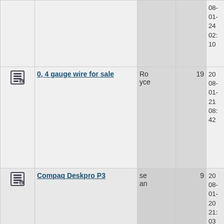|  | Title | User | Replies | Date |
| --- | --- | --- | --- | --- |
| [icon] |  |  |  | 08-01-24 02:10 |
| [icon] | 0, 4 gauge wire for sale | Royce | 19 | 2008-01-21 08:42 |
| [icon] | Compaq Deskpro P3 | sean | 9 | 2008-01-20 21:03 |